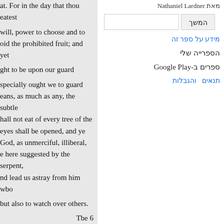at. For in the day that thou eatest

will, power to choose and to
oid the prohibited fruit; and yet

ght to be upon our guard

specially ought we to guard
eans, as much as any, the subtle
hall not eat of every tree of the
eyes shall be opened, and ye
God, as unmerciful, illiberal,
e here suggested by the serpent,
nd lead us astray from him wbo

but also to watch over others.

Tbe 6

rough his subtilty, so your ,

ession was mild and equitable:
מאת Nathaniel Lardner
המשך
מידע על ספר זה
הספרייה שלי
ספרים ב-Google Play
תנאים   והגבלות